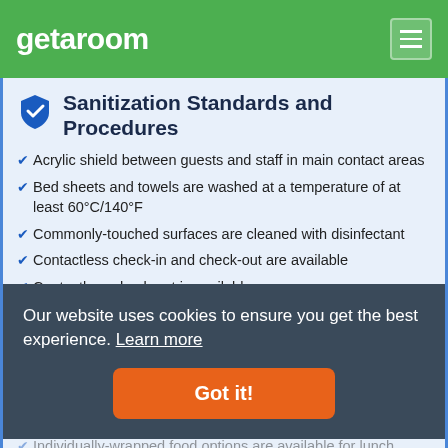getaroom
Sanitization Standards and Procedures
Acrylic shield between guests and staff in main contact areas
Bed sheets and towels are washed at a temperature of at least 60°C/140°F
Commonly-touched surfaces are cleaned with disinfectant
Contactless check-in and check-out are available
Contactless check-out is available
Gloves are available to guests
Guests are provided with hand sanitizer
Individually-wrapped food options are available
Individually-wrapped food options are available for breakfast
Individually-wrapped food options are available for dinner
Individually-wrapped food options are available for lunch
Our website uses cookies to ensure you get the best experience. Learn more
Got it!